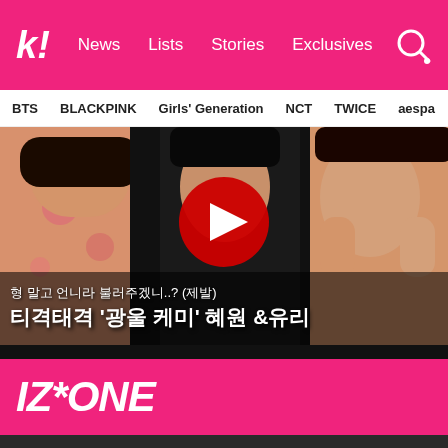Koreaboo | News | Lists | Stories | Exclusives
BTS   BLACKPINK   Girls' Generation   NCT   TWICE   aespa
[Figure (screenshot): YouTube video thumbnail showing Korean female celebrities with Korean text overlay reading '형 말고 언니라 불러주겠니..? (제발) 티격태격 '광울 케미' 혜원 &유리']
IZ*ONE
Choi Yena Opens Up About Missing IZ*ONE
Choi Yena To Make A Comeback Next Month With New Mini Album